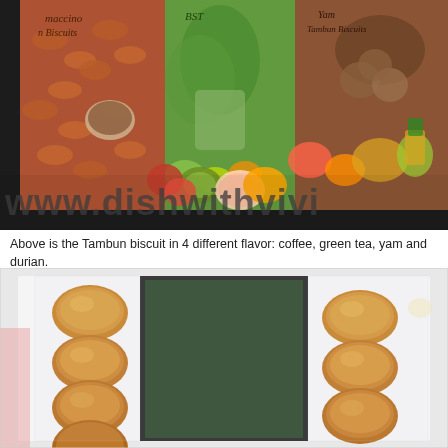[Figure (photo): Photo of Tambun biscuit packaging boxes showing 4 different flavors - coffee, green tea, yam and durian. Boxes feature images of peanuts, fruits, and biscuits. Watermark text reads www.dishwithvivi]
Above is the Tambun biscuit in 4 different flavor: coffee, green tea, yam and durian.
[Figure (photo): Photo of Tambun biscuits arranged in two rows inside a white box with plastic/cellophane wrapping. The biscuits appear round and golden-brown colored, arranged in two columns on the left and right sides of the box.]